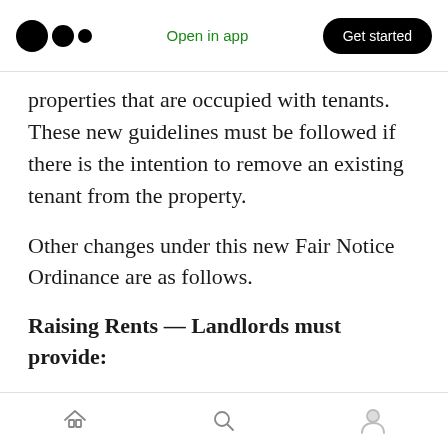Open in app | Get started
properties that are occupied with tenants. These new guidelines must be followed if there is the intention to remove an existing tenant from the property.
Other changes under this new Fair Notice Ordinance are as follows.
Raising Rents — Landlords must provide:
These rules apply to all tenants, whether they have a written year-long lease or an informal month-to-month lease. However, it does not
Home | Search | Profile